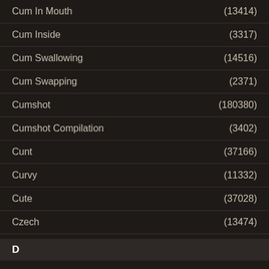Cum In Mouth (13414)
Cum Inside (3317)
Cum Swallowing (14516)
Cum Swapping (2371)
Cumshot (180380)
Cumshot Compilation (3402)
Cunt (37166)
Curvy (11332)
Cute (37028)
Czech (13474)
D
DP (11483)